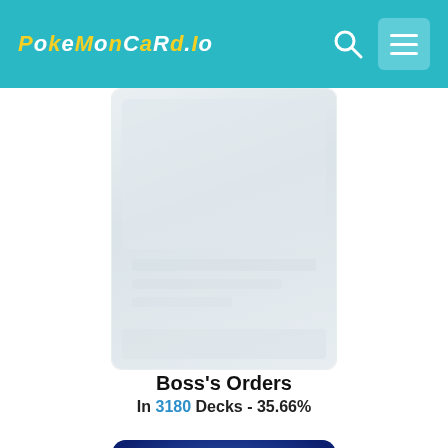PokemonCard.Io
[Figure (photo): Faded/blurred Pokemon card image (card back or obscured card front)]
Boss's Orders
In 3180 Decks - 35.66%
[Figure (photo): Pokemon TCG card back design with blue swirling background and Pokemon logo in yellow/orange]